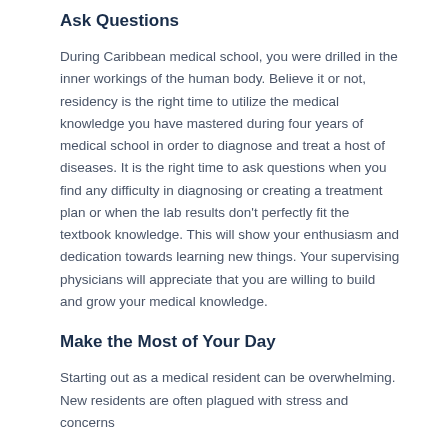Ask Questions
During Caribbean medical school, you were drilled in the inner workings of the human body. Believe it or not, residency is the right time to utilize the medical knowledge you have mastered during four years of medical school in order to diagnose and treat a host of diseases. It is the right time to ask questions when you find any difficulty in diagnosing or creating a treatment plan or when the lab results don't perfectly fit the textbook knowledge. This will show your enthusiasm and dedication towards learning new things. Your supervising physicians will appreciate that you are willing to build and grow your medical knowledge.
Make the Most of Your Day
Starting out as a medical resident can be overwhelming. New residents are often plagued with stress and concerns